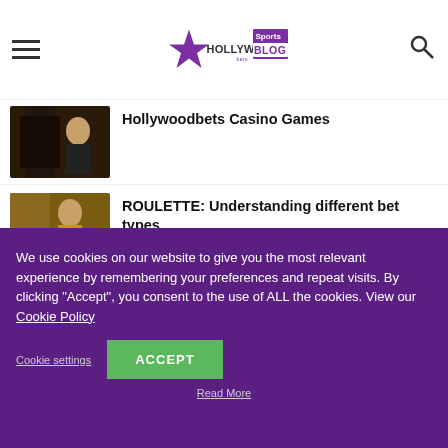Hollywoodbets Sports Blog
Hollywoodbets Casino Games
ROULETTE: Understanding different bet types
LIGHTNING ROULETTE: Tips and strategies for new players
We use cookies on our website to give you the most relevant experience by remembering your preferences and repeat visits. By clicking “Accept”, you consent to the use of ALL the cookies. View our Cookie Policy